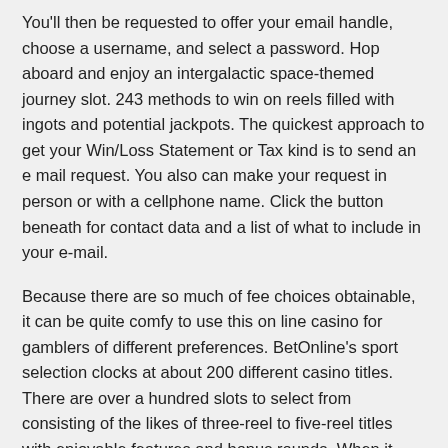You'll then be requested to offer your email handle, choose a username, and select a password. Hop aboard and enjoy an intergalactic space-themed journey slot. 243 methods to win on reels filled with ingots and potential jackpots. The quickest approach to get your Win/Loss Statement or Tax kind is to send an e mail request. You also can make your request in person or with a cellphone name. Click the button beneath for contact data and a list of what to include in your e-mail.
Because there are so much of fee choices obtainable, it can be quite comfy to use this on line casino for gamblers of different preferences. BetOnline's sport selection clocks at about 200 different casino titles. There are over a hundred slots to select from consisting of the likes of three-reel to five-reel titles with enjoyable features and bonus rounds. When it involves bonuses, Ignition Casino is one of the best choices. You can get started with a massive bonus offer of a 150% deposit match as much as $1,500 for payments made in crypto. While most gamers don't have any issues controlling their online gambling in America, there are still...